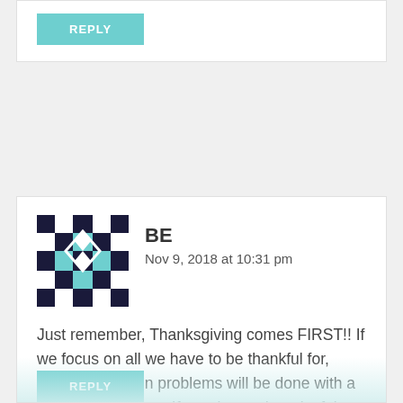[Figure (other): Teal/turquoise REPLY button at top of page]
BE
Nov 9, 2018 at 10:31 pm
Just remember, Thanksgiving comes FIRST!! If we focus on all we have to be thankful for, these decoration problems will be done with a song in your heart. If we sing and are joyful then others will join in and help and the work will be done in a jiff!! Optimistic!!
[Figure (other): Teal/turquoise REPLY button at bottom, partially visible]